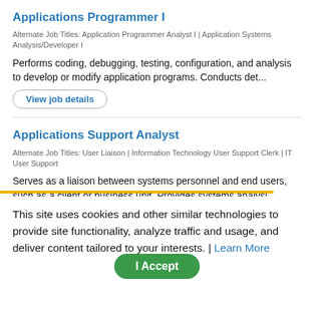Applications Programmer I
Alternate Job Titles: Application Programmer Analyst I | Application Systems Analysis/Developer I
Performs coding, debugging, testing, configuration, and analysis to develop or modify application programs. Conducts det...
View job details
Applications Support Analyst
Alternate Job Titles: User Liaison | Information Technology User Support Clerk | IT User Support
Serves as a liaison between systems personnel and end users, such as a client or business unit. Provides systems analysi...
View job details
This site uses cookies and other similar technologies to provide site functionality, analyze traffic and usage, and deliver content tailored to your interests. | Learn More
Leads a team of audio-visual technicians who install, configure, operate, disassemble, troubleshoot audio-visual equ...
View job details